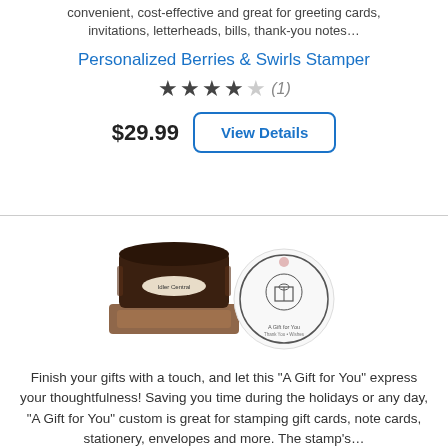convenient, cost-effective and great for greeting cards, invitations, letterheads, bills, thank-you notes…
Personalized Berries & Swirls Stamper
★★★★☆ (1)
$29.99  View Details
[Figure (photo): Photo of a self-inking stamper (dark brown) next to a circular stamp impression on white paper reading 'A Gift for You']
Finish your gifts with a touch, and let this "A Gift for You" express your thoughtfulness! Saving you time during the holidays or any day, "A Gift for You" custom is great for stamping gift cards, note cards, stationery, envelopes and more. The stamp's…